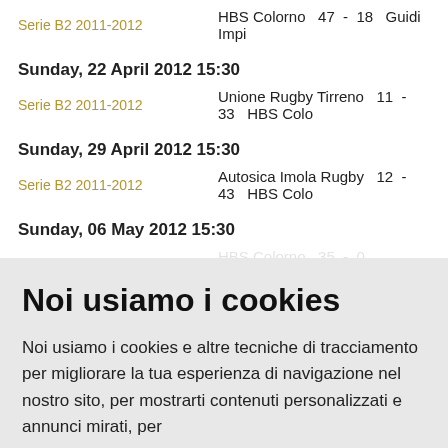Serie B2 2011-2012   HBS Colorno  47  -  18  Guidi Impi…
Sunday, 22 April 2012 15:30
Serie B2 2011-2012   Unione Rugby Tirreno  11  -  33  HBS Colo…
Sunday, 29 April 2012 15:30
Serie B2 2011-2012   Autosica Imola Rugby  12  -  43  HBS Colo…
Sunday, 06 May 2012 15:30
Serie B2 2011-2012   HBS Colorno  35  -  0  Autosi… (faded/cut off)
Noi usiamo i cookies
Noi usiamo i cookies e altre tecniche di tracciamento per migliorare la tua esperienza di navigazione nel nostro sito, per mostrarti contenuti personalizzati e annunci mirati, per